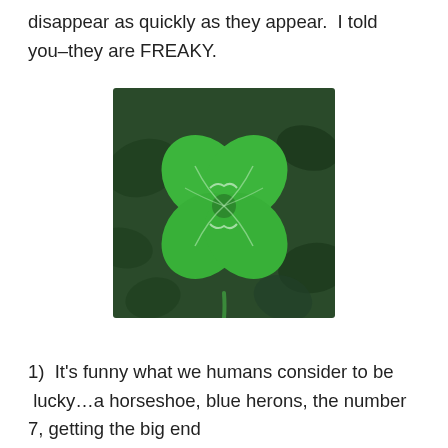disappear as quickly as they appear.  I told you–they are FREAKY.
[Figure (photo): Close-up photograph of a bright green four-leaf clover against a blurred dark green background of other clover leaves.]
1)  It's funny what we humans consider to be  lucky…a horseshoe, blue herons, the number 7, getting the big end